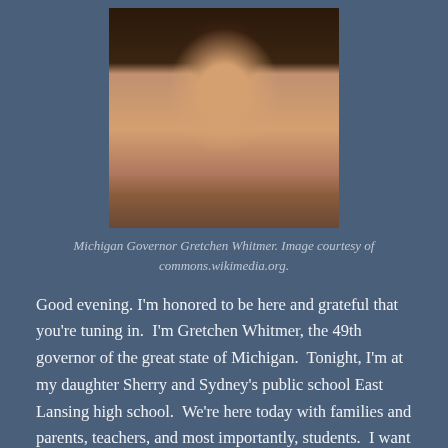[Figure (photo): Portrait photo of Michigan Governor Gretchen Whitmer, a woman with dark curly hair, smiling, wearing a leopard-print blouse]
Michigan Governor Gretchen Whitmer. Image courtesy of commons.wikimedia.org.
Good evening. I'm honored to be here and grateful that you're tuning in.  I'm Gretchen Whitmer, the 49th governor of the great state of Michigan.  Tonight, I'm at my daughter Sherry and Sydney's public school East Lansing high school.  We're here today with families and parents, teachers, and most importantly, students.  I want to thank you all for coming.